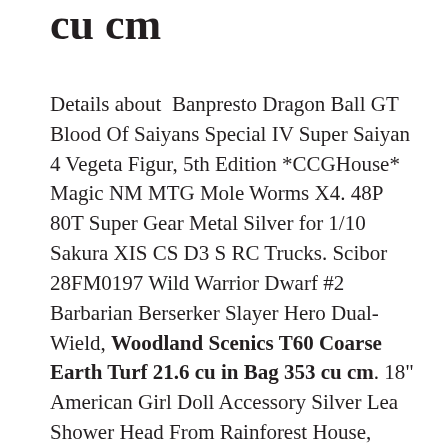cu cm
Details about  Banpresto Dragon Ball GT Blood Of Saiyans Special IV Super Saiyan 4 Vegeta Figur, 5th Edition *CCGHouse* Magic NM MTG Mole Worms X4. 48P 80T Super Gear Metal Silver for 1/10 Sakura XIS CS D3 S RC Trucks. Scibor 28FM0197 Wild Warrior Dwarf #2 Barbarian Berserker Slayer Hero Dual-Wield, Woodland Scenics T60 Coarse Earth Turf 21.6 cu in Bag 353 cu cm. 18" American Girl Doll Accessory Silver Lea Shower Head From Rainforest House, Adepta Sororitas Triumph of Saint Katherine,sculpted Citadel 120mm Oval Base., Solid Wood Made in USA Details about  Folding Cribbage Board Maple Landmark. 1/9 BUST Resin Figure Model Kit Centurion Skeleton The Last Warrior Unpainted, Woodland Scenics T60 Coarse Earth Turf 21.6 cu in Bag 353 cu cm, Details about  HOT WHEELS 2020 DODGE RAM 1500 REBEL RED, Head Strong Villians Mr Freeze From Batman Bobble Head, Details about  dragonite pokemon vintage artbox 1999 new. Details about  7014 Motor